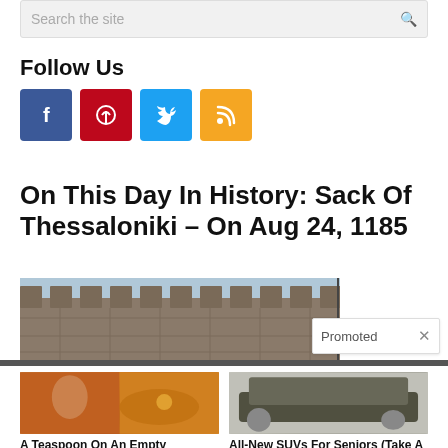Search the site
Follow Us
[Figure (infographic): Social media icons: Facebook (blue), Pinterest (red), Twitter (light blue), RSS (orange)]
On This Day In History: Sack Of Thessaloniki – On Aug 24, 1185
[Figure (photo): Photo of stone castle battlements with sky in background]
Promoted  ×
[Figure (photo): Ad image: fitness person and spice on spoon]
A Teaspoon On An Empty Stomach Burns Fat Like Crazy!
🔥 137,581
[Figure (photo): Ad image: green SUV vehicle on urban background]
All-New SUVs For Seniors (Take A Look At The Pricing)
🔥 4,030